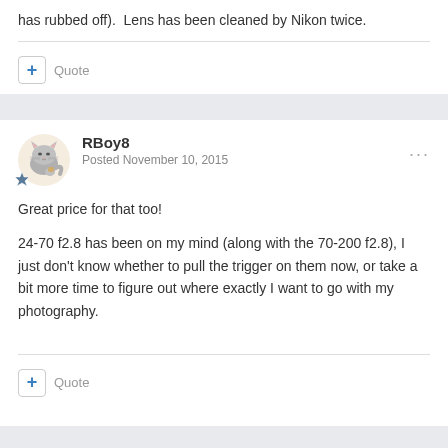has rubbed off).  Lens has been cleaned by Nikon twice.
Quote
RBoy8
Posted November 10, 2015
Great price for that too!

24-70 f2.8 has been on my mind (along with the 70-200 f2.8), I just don't know whether to pull the trigger on them now, or take a bit more time to figure out where exactly I want to go with my photography.
Quote